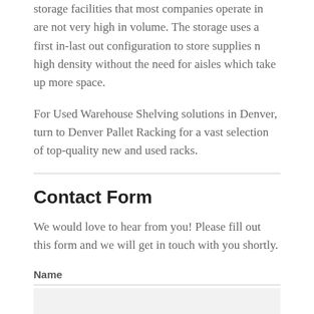storage facilities that most companies operate in are not very high in volume. The storage uses a first in-last out configuration to store supplies n high density without the need for aisles which take up more space.
For Used Warehouse Shelving solutions in Denver, turn to Denver Pallet Racking for a vast selection of top-quality new and used racks.
Contact Form
We would love to hear from you! Please fill out this form and we will get in touch with you shortly.
Name
Phone